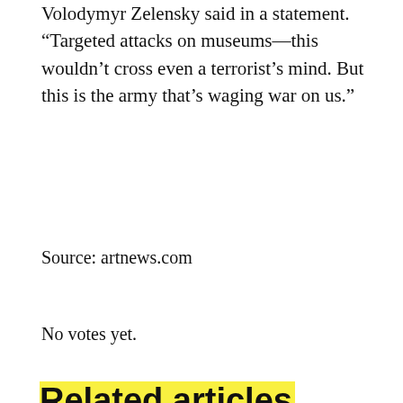Volodymyr Zelensky said in a statement. “Targeted attacks on museums—this wouldn’t cross even a terrorist’s mind. But this is the army that’s waging war on us.”
Source: artnews.com
No votes yet.
Related articles
A Lost Masterpiece from a British Avant-Garde Movement Will Go on Display
MacGregor Harp, Artist Who Founded a Trendsetting New York Gallery, Dies